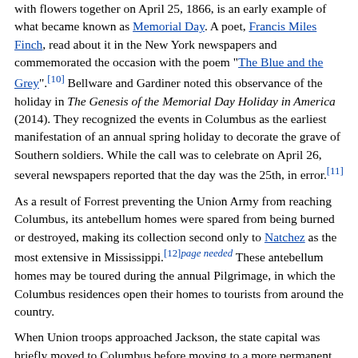with flowers together on April 25, 1866, is an early example of what became known as Memorial Day. A poet, Francis Miles Finch, read about it in the New York newspapers and commemorated the occasion with the poem "The Blue and the Grey".[10] Bellware and Gardiner noted this observance of the holiday in The Genesis of the Memorial Day Holiday in America (2014). They recognized the events in Columbus as the earliest manifestation of an annual spring holiday to decorate the grave of Southern soldiers. While the call was to celebrate on April 26, several newspapers reported that the day was the 25th, in error.[11]
As a result of Forrest preventing the Union Army from reaching Columbus, its antebellum homes were spared from being burned or destroyed, making its collection second only to Natchez as the most extensive in Mississippi.[12][page needed] These antebellum homes may be toured during the annual Pilgrimage, in which the Columbus residences open their homes to tourists from around the country.
When Union troops approached Jackson, the state capital was briefly moved to Columbus before moving to a more permanent home in Macon.[13]
During the war, Columbus attorney Jacob H. Sharp served as a brigadier general in the Confederate Army. After the war, he served...